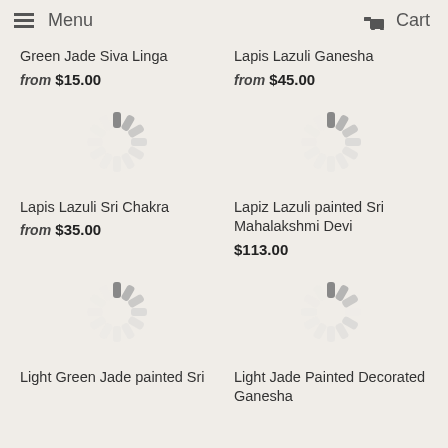Menu  Cart
Green Jade Siva Linga
from $15.00
[Figure (illustration): Loading spinner icon (circular dashes)]
Lapis Lazuli Ganesha
from $45.00
[Figure (illustration): Loading spinner icon (circular dashes)]
Lapis Lazuli Sri Chakra
from $35.00
[Figure (illustration): Loading spinner icon (circular dashes)]
Lapiz Lazuli painted Sri Mahalakshmi Devi
$113.00
[Figure (illustration): Loading spinner icon (circular dashes)]
Light Green Jade painted Sri
Light Jade Painted Decorated Ganesha